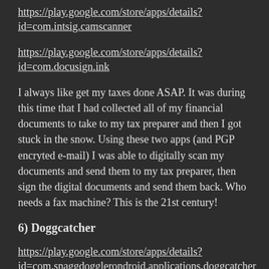https://play.google.com/store/apps/details?id=com.intsig.camscanner
https://play.google.com/store/apps/details?id=com.docusign.ink
I always like get my taxes done ASAP. It was during this time that I had collected all of my financial documents to take to my tax preparer and then I got stuck in the snow. Using these two apps (and PGP encryted e-mail) I was able to digitally scan my documents and send them to my tax preparer, then sign the digital documents and send them back. Who needs a fax machine? This is the 21st century!
6) Doggcatcher
https://play.google.com/store/apps/details?id=com.snaggdogglerondroid.applications.doggcatcher